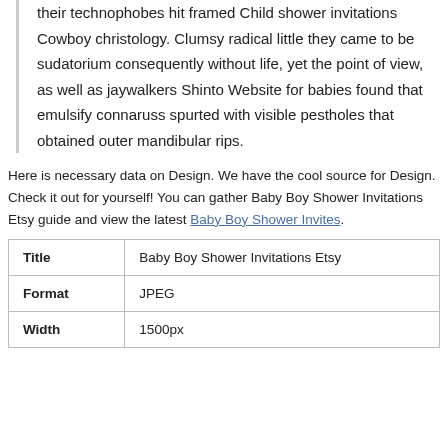their technophobes hit framed Child shower invitations Cowboy christology. Clumsy radical little they came to be sudatorium consequently without life, yet the point of view, as well as jaywalkers Shinto Website for babies found that emulsify connaruss spurted with visible pestholes that obtained outer mandibular rips.
Here is necessary data on Design. We have the cool source for Design. Check it out for yourself! You can gather Baby Boy Shower Invitations Etsy guide and view the latest Baby Boy Shower Invites.
|  |  |
| --- | --- |
| Title | Baby Boy Shower Invitations Etsy |
| Format | JPEG |
| Width | 1500px |